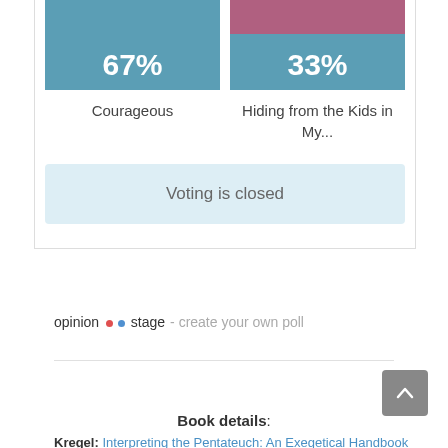[Figure (infographic): Poll widget showing two book choices: 'Courageous' at 67% and 'Hiding from the Kids in My...' at 33%, with a 'Voting is closed' button]
opinion stage - create your own poll
Book details:
Kregel: Interpreting the Pentateuch: An Exegetical Handbook